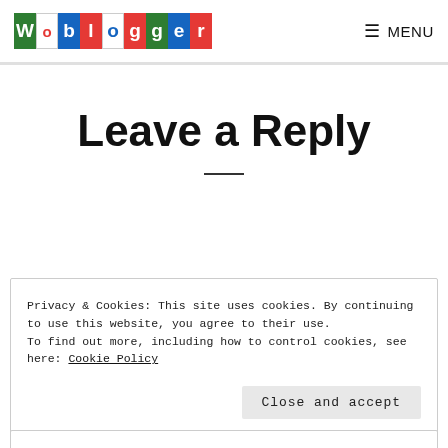Woblogger | MENU
Leave a Reply
Privacy & Cookies: This site uses cookies. By continuing to use this website, you agree to their use.
To find out more, including how to control cookies, see here: Cookie Policy
Close and accept